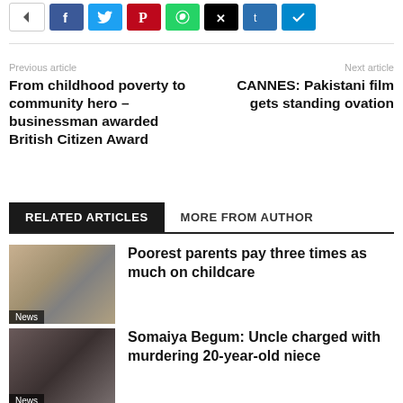[Figure (other): Social share buttons bar: back arrow (white), Facebook (blue), Twitter (cyan), Pinterest (red), WhatsApp (green), X/Twitter (black), Tumblr (blue), Telegram (light blue)]
Previous article
Next article
From childhood poverty to community hero – businessman awarded British Citizen Award
CANNES: Pakistani film gets standing ovation
RELATED ARTICLES
MORE FROM AUTHOR
[Figure (photo): Thumbnail photo of a child with a backpack walking outdoors, with a News badge overlay]
Poorest parents pay three times as much on childcare
[Figure (photo): Thumbnail photo of a woman's face, with a News badge overlay]
Somaiya Begum: Uncle charged with murdering 20-year-old niece